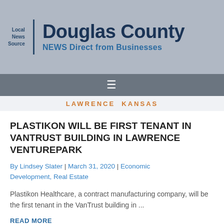Local News Source | Douglas County | NEWS Direct from Businesses
≡
LAWRENCE  KANSAS
PLASTIKON WILL BE FIRST TENANT IN VANTRUST BUILDING IN LAWRENCE VENTUREPARK
By Lindsey Slater | March 31, 2020 | Economic Development, Real Estate
Plastikon Healthcare, a contract manufacturing company, will be the first tenant in the VanTrust building in ...
READ MORE